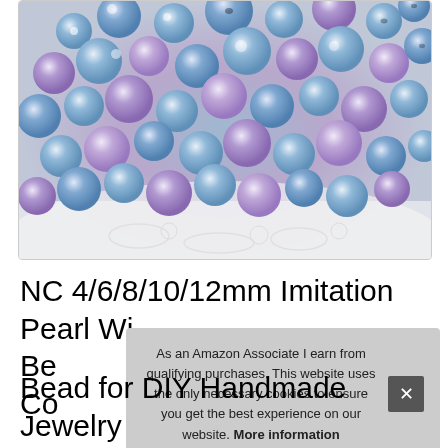[Figure (photo): Close-up photo of mixed blue and purple/pink iridescent imitation pearl beads scattered on a white lace surface]
NC 4/6/8/10/12mm Imitation Pearl Wi Be Co
As an Amazon Associate I earn from qualifying purchases. This website uses the only necessary cookies to ensure you get the best experience on our website. More information
Bead for DIY Handmade Jewelry